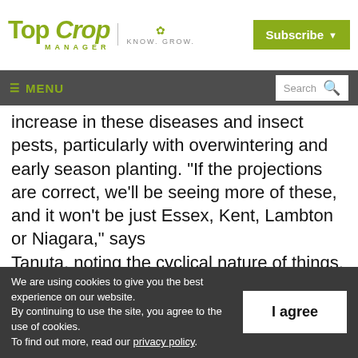Top Crop Manager | Know. Grow. | Subscribe
≡ MENU | Search
increase in these diseases and insect pests, particularly with overwintering and early season planting. "If the projections are correct, we'll be seeing more of these, and it won't be just Essex, Kent, Lambton or Niagara," says Tanuta, noting the cyclical nature of things. "If
We are using cookies to give you the best experience on our website. By continuing to use the site, you agree to the use of cookies. To find out more, read our privacy policy.
I agree